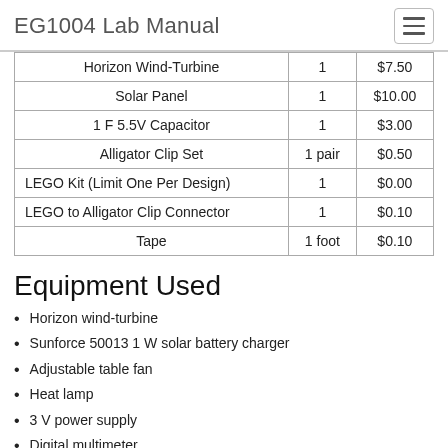EG1004 Lab Manual
| Item | Quantity | Price |
| --- | --- | --- |
| Horizon Wind-Turbine | 1 | $7.50 |
| Solar Panel | 1 | $10.00 |
| 1 F 5.5V Capacitor | 1 | $3.00 |
| Alligator Clip Set | 1 pair | $0.50 |
| LEGO Kit (Limit One Per Design) | 1 | $0.00 |
| LEGO to Alligator Clip Connector | 1 | $0.10 |
| Tape | 1 foot | $0.10 |
Equipment Used
Horizon wind-turbine
Sunforce 50013 1 W solar battery charger
Adjustable table fan
Heat lamp
3 V power supply
Digital multimeter
Music voltmeter
9 V DC motor